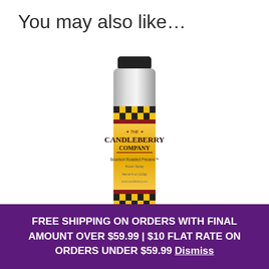You may also like…
[Figure (photo): Spray can product: The Candleberry Company Bourbon Roasted Pecans Room Spray. Silver aerosol can with black cap, yellow and black checkered label band at top and bottom, gold/maroon label in center with brand name and product details.]
Bourbon Roasted Pecans™ Room Spray
FREE SHIPPING ON ORDERS WITH FINAL AMOUNT OVER $59.99 | $10 FLAT RATE ON ORDERS UNDER $59.99 Dismiss